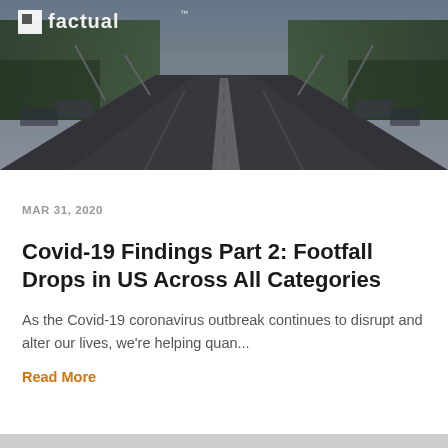[Figure (photo): Empty urban road with trees on both sides and a Factual logo in white in the upper left corner. The street appears deserted, viewed from a low perspective looking down a straight road.]
MAR 31, 2020
Covid-19 Findings Part 2: Footfall Drops in US Across All Categories
As the Covid-19 coronavirus outbreak continues to disrupt and alter our lives, we're helping quan...
Read More